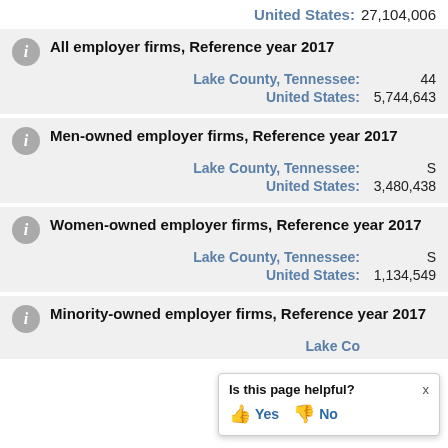United States: 27,104,006
All employer firms, Reference year 2017
Lake County, Tennessee: 44
United States: 5,744,643
Men-owned employer firms, Reference year 2017
Lake County, Tennessee: S
United States: 3,480,438
Women-owned employer firms, Reference year 2017
Lake County, Tennessee: S
United States: 1,134,549
Minority-owned employer firms, Reference year 2017
Lake County, Tennessee: S